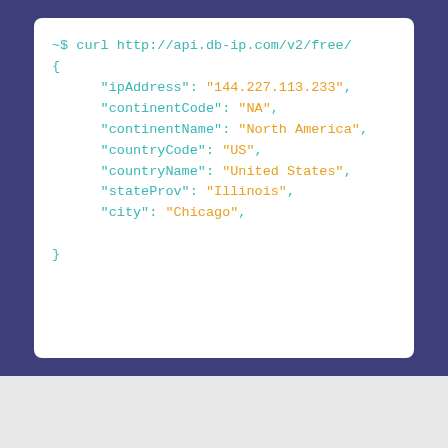~$ curl http://api.db-ip.com/v2/free/
{
    "ipAddress": "144.227.113.233",
    "continentCode": "NA",
    "continentName": "North America",
    "countryCode": "US",
    "countryName": "United States",
    "stateProv": "Illinois",
    "city": "Chicago",
}